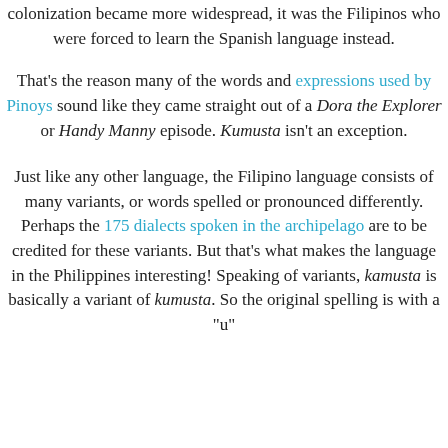colonization became more widespread, it was the Filipinos who were forced to learn the Spanish language instead.
That's the reason many of the words and expressions used by Pinoys sound like they came straight out of a Dora the Explorer or Handy Manny episode. Kumusta isn't an exception.
Just like any other language, the Filipino language consists of many variants, or words spelled or pronounced differently. Perhaps the 175 dialects spoken in the archipelago are to be credited for these variants. But that's what makes the language in the Philippines interesting! Speaking of variants, kamusta is basically a variant of kumusta. So the original spelling is with a "u"